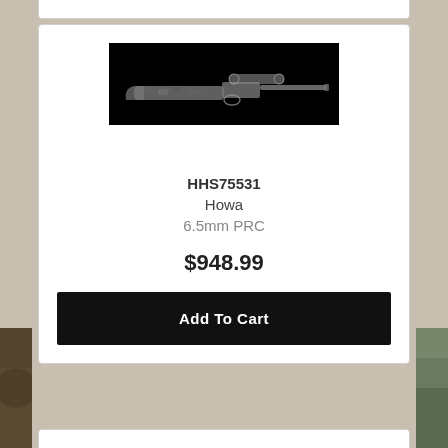[Figure (photo): Howa bolt-action rifle with camouflage stock and barrel, photographed against a black background]
HHS75531
Howa
6.5mm PRC
$948.99